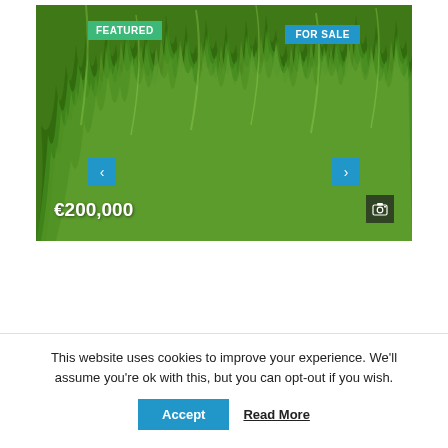[Figure (photo): A real estate listing card showing a close-up photo of tall green grass/reeds as the property image. The image has a 'FEATURED' green badge in the top-left, a 'FOR SALE' blue badge in the top-right, left and right navigation arrows in blue, a camera icon in the bottom-right, and a price label '€200,000' in the bottom-left over the image.]
This website uses cookies to improve your experience. We'll assume you're ok with this, but you can opt-out if you wish.
Accept
Read More